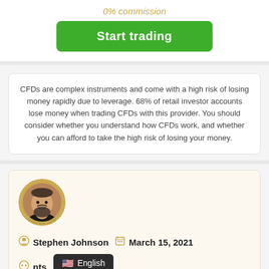0% commission
Start trading
CFDs are complex instruments and come with a high risk of losing money rapidly due to leverage. 68% of retail investor accounts lose money when trading CFDs with this provider. You should consider whether you understand how CFDs work, and whether you can afford to take the high risk of losing your money.
[Figure (photo): Circular profile photo of author Stephen Johnson, a bearded middle-aged man, bordered with gold ring]
Stephen Johnson   March 15, 2021
English